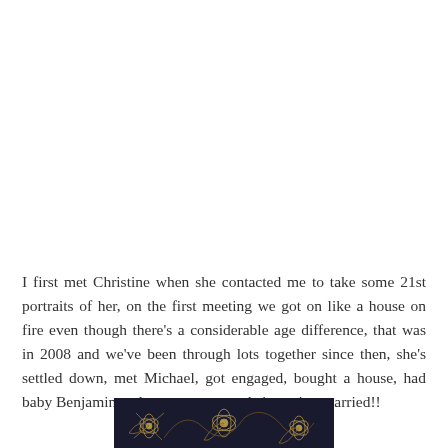I first met Christine when she contacted me to take some 21st portraits of her, on the first meeting we got on like a house on fire even though there's a considerable age difference, that was in 2008 and we've been through lots together since then, she's settled down, met Michael, got engaged, bought a house, had baby Benjamin and now tomorrow she's getting married!!
[Figure (photo): Dark blue floral patterned fabric or wallpaper with gold/beige decorative floral motifs, partially visible at bottom of page]